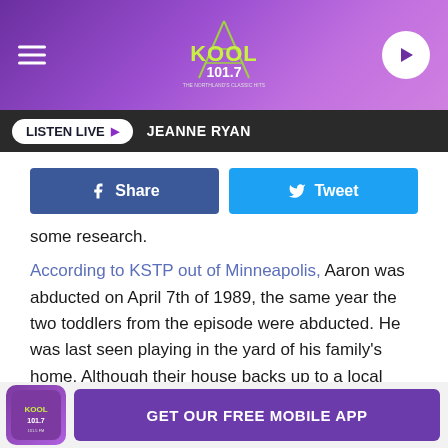[Figure (logo): KOOL 101.7 radio station website header with purple gradient background, hamburger menu icon on left, KOOL 101.7 logo in center, play button on right]
LISTEN LIVE ▶  JEANNE RYAN
[Figure (infographic): Facebook Share button and Twitter Tweet button side by side]
some research.
According to KSTP out of Minneapolis, Aaron was abducted on April 7th of 1989, the same year the two toddlers from the episode were abducted. He was last seen playing in the yard of his family's home. Although their house backs up to a local river, the child was never found and his family still believes he could be alive today.
GET OUR FREE MOBILE APP